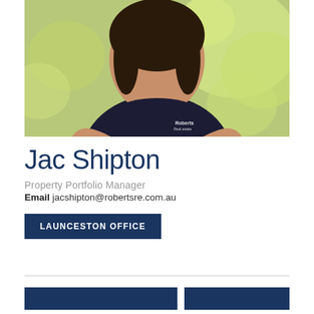[Figure (photo): Professional headshot photo of Jac Shipton, a woman wearing a dark navy Roberts Real Estate polo shirt, photographed against a blurred green bokeh background.]
Jac Shipton
Property Portfolio Manager
Email jacshipton@robertsre.com.au
LAUNCESTON OFFICE